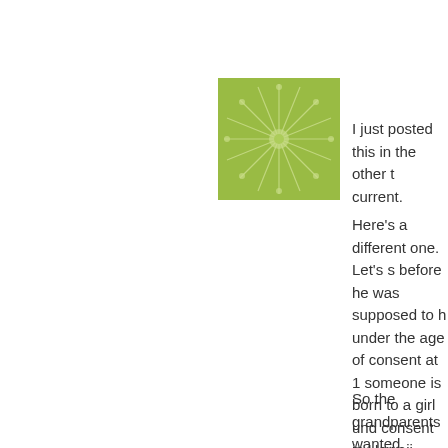[Figure (illustration): Green decorative avatar/icon with a starburst or snowflake pattern on a white background, inside a square border.]
I just posted this in the other t current.
Here's a different one. Let's s before he was supposed to h under the age of consent at 1 someone is born to a girl und consent in Hawaii back then would have been an obligato
So the grandparents wanted Marshall Davis, who was abu memorandum. The family wa born, and got themselves a s why his Indonesian teachers his other classmates in Indon
Or... Dunham was taken to a lower, or Canada, for the birt and then placed the announc cert.
To continue my theory, Dunb